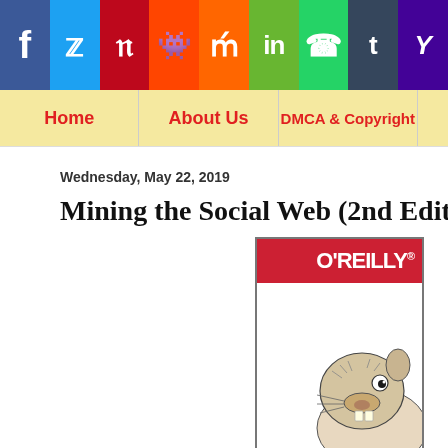[Figure (infographic): Social media share buttons bar: Facebook (blue), Twitter (light blue), Pinterest (red), Reddit (orange-red), Mix (orange), LinkedIn (green), WhatsApp (green), Tumblr (dark blue), Yahoo (purple)]
[Figure (screenshot): Website navigation bar with yellow/cream background showing links: Home, About Us, DMCA & Copyright (text cut off at right)]
Wednesday, May 22, 2019
Mining the Social Web (2nd Edition), P
[Figure (illustration): O'Reilly book cover partially visible, showing red O'REILLY banner at top and a beaver illustration at the bottom]